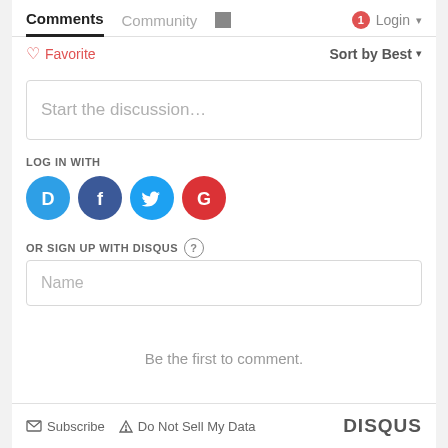Comments  Community  Login
♡ Favorite   Sort by Best
Start the discussion…
LOG IN WITH
[Figure (logo): Social login icons: Disqus (blue), Facebook (dark blue), Twitter (light blue), Google (red)]
OR SIGN UP WITH DISQUS ?
Name
Be the first to comment.
Subscribe  Do Not Sell My Data  DISQUS